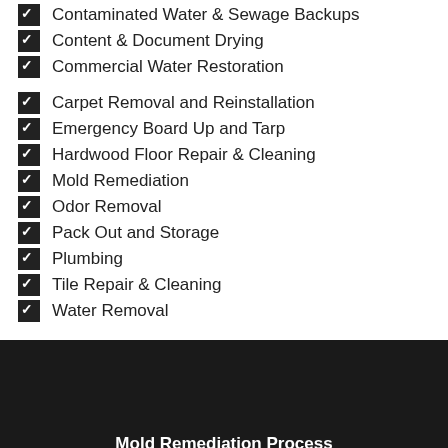Contaminated Water & Sewage Backups
Content & Document Drying
Commercial Water Restoration
Carpet Removal and Reinstallation
Emergency Board Up and Tarp
Hardwood Floor Repair & Cleaning
Mold Remediation
Odor Removal
Pack Out and Storage
Plumbing
Tile Repair & Cleaning
Water Removal
Mold Remediation Process